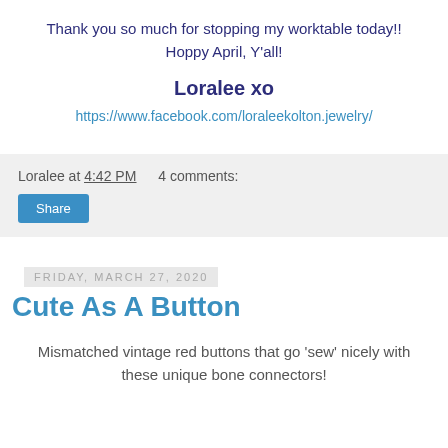Thank you so much for stopping my worktable today!! Hoppy April, Y'all!
Loralee xo
https://www.facebook.com/loraleekolton.jewelry/
Loralee at 4:42 PM   4 comments:
Share
Friday, March 27, 2020
Cute As A Button
Mismatched vintage red buttons that go 'sew' nicely with these unique bone connectors!